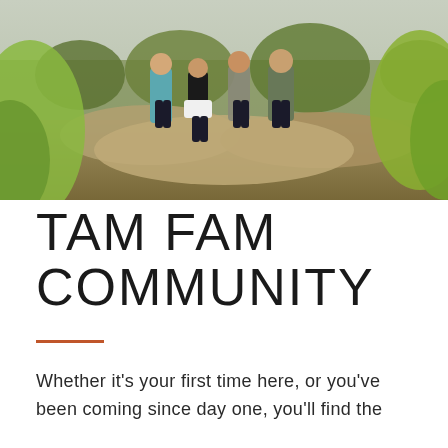[Figure (photo): Outdoor photo of four people standing on rocky terrain viewed from behind, surrounded by pine trees and scrubby vegetation in a natural landscape setting. One person wears a teal/light blue jacket, another wears a black sports top with a white skirt, one wears a plaid flannel shirt, and one wears a dark jacket.]
TAM FAM COMMUNITY
Whether it's your first time here, or you've been coming since day one, you'll find the